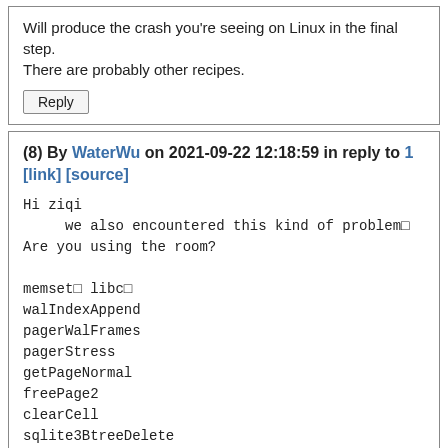Will produce the crash you're seeing on Linux in the final step. There are probably other recipes.
[Reply]
(8) By WaterWu on 2021-09-22 12:18:59 in reply to 1 [link] [source]
Hi ziqi
     we also encountered this kind of problem□
Are you using the room?

memset□ libc□
walIndexAppend
pagerWalFrames
pagerStress
getPageNormal
freePage2
clearCell
sqlite3BtreeDelete
sqlite3VdbeExec
sqlite3_step
[Reply]